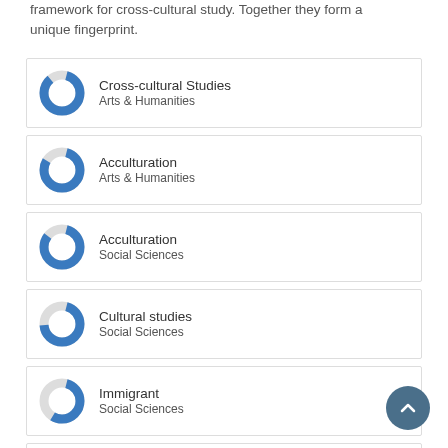framework for cross-cultural study. Together they form a unique fingerprint.
Cross-cultural Studies — Arts & Humanities
Acculturation — Arts & Humanities
Acculturation — Social Sciences
Cultural studies — Social Sciences
Immigrant — Social Sciences
Cognitive Anthropology — Arts & Humanities